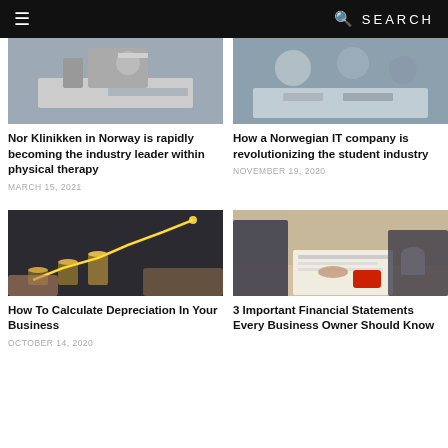≡   SEARCH
[Figure (photo): Woman at desk working with phone and documents]
Nor Klinikken in Norway is rapidly becoming the industry leader within physical therapy
MARCH 15, 2021
[Figure (photo): Business people in meeting with laptop]
How a Norwegian IT company is revolutionizing the student industry
NOVEMBER 19, 2020
[Figure (photo): Hands with coins and glowing upward chart line]
How To Calculate Depreciation In Your Business
OCTOBER 14, 2020
[Figure (photo): Two people reviewing financial documents at desk with phone and coffee]
3 Important Financial Statements Every Business Owner Should Know